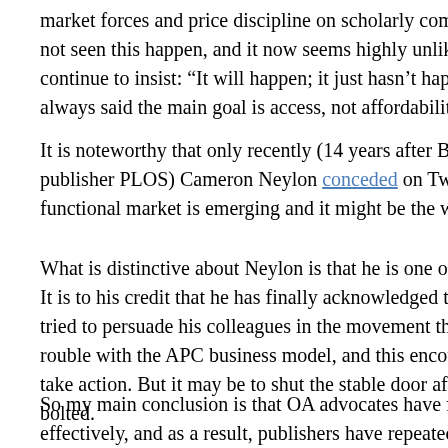market forces and price discipline on scholarly communic... not seen this happen, and it now seems highly unlikely th... continue to insist: "It will happen; it just hasn't happened y... we always said the main goal is access, not affordability".
It is noteworthy that only recently (14 years after BOAI) C... publisher PLOS) Cameron Neylon conceded on Twitter: "... functional market is emerging and it might be the wrong e...
What is distinctive about Neylon is that he is one of a sma... is to his credit that he has finally acknowledged the proble... persuade his colleagues in the movement that there is a t... business model, and this encouraged them to take action... shut the stable door after the horse has bolted.
So my main conclusion is that OA advocates have failed t... as a result, publishers have repeatedly been able to outs...
What differences are there in the attitudes towards O... richer countries? What impact does wealth have on d...